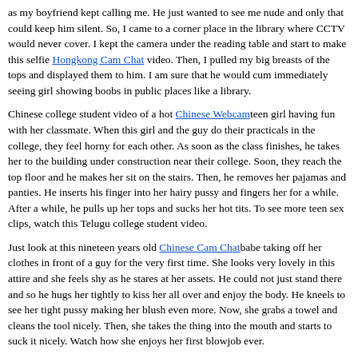as my boyfriend kept calling me. He just wanted to see me nude and only that could keep him silent. So, I came to a corner place in the library where CCTV would never cover. I kept the camera under the reading table and start to make this selfie Hongkong Cam Chat video. Then, I pulled my big breasts of the tops and displayed them to him. I am sure that he would cum immediately seeing girl showing boobs in public places like a library.
Chinese college student video of a hot Chinese Webcam teen girl having fun with her classmate. When this girl and the guy do their practicals in the college, they feel horny for each other. As soon as the class finishes, he takes her to the building under construction near their college. Soon, they reach the top floor and he makes her sit on the stairs. Then, he removes her pajamas and panties. He inserts his finger into her hairy pussy and fingers her for a while. After a while, he pulls up her tops and sucks her hot tits. To see more teen sex clips, watch this Telugu college student video.
Just look at this nineteen years old Chinese Cam Chat babe taking off her clothes in front of a guy for the very first time. She looks very lovely in this attire and she feels shy as he stares at her assets. He could not just stand there and so he hugs her tightly to kiss her all over and enjoy the body. He kneels to see her tight pussy making her blush even more. Now, she grabs a towel and cleans the tool nicely. Then, she takes the thing into the mouth and starts to suck it nicely. Watch how she enjoys her first blowjob ever.